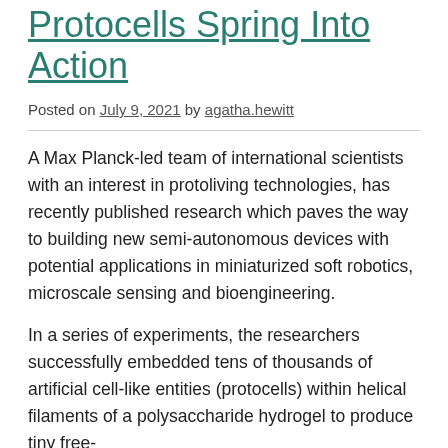Protocells Spring Into Action
Posted on July 9, 2021 by agatha.hewitt
A Max Planck-led team of international scientists with an interest in protoliving technologies, has recently published research which paves the way to building new semi-autonomous devices with potential applications in miniaturized soft robotics, microscale sensing and bioengineering.
In a series of experiments, the researchers successfully embedded tens of thousands of artificial cell-like entities (protocells) within helical filaments of a polysaccharide hydrogel to produce tiny free-